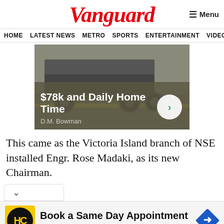Vanguard
HOME  LATEST NEWS  METRO  SPORTS  ENTERTAINMENT  VIDEOS
[Figure (advertisement): D.M. Bowman truck advertisement: $78k and Daily Home Time]
This came as the Victoria Island branch of NSE installed Engr. Rose Madaki, as its new Chairman.
[Figure (advertisement): Hair Cuttery: Book a Same Day Appointment]